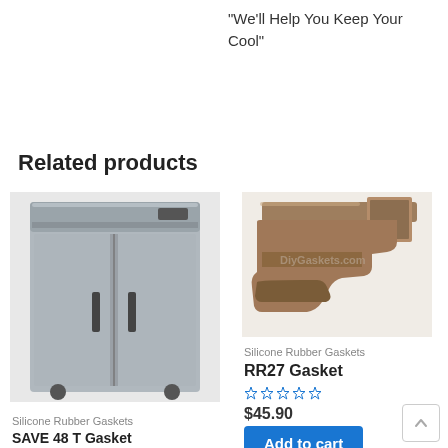"We'll Help You Keep Your Cool"
Related products
[Figure (photo): Commercial two-door stainless steel refrigerator on casters]
Silicone Rubber Gaskets
SAVE 48 T Gasket
[Figure (photo): Cross-section of a silicone rubber gasket with DiyGaskets.com watermark]
Silicone Rubber Gaskets
RR27 Gasket
$45.90
Add to cart